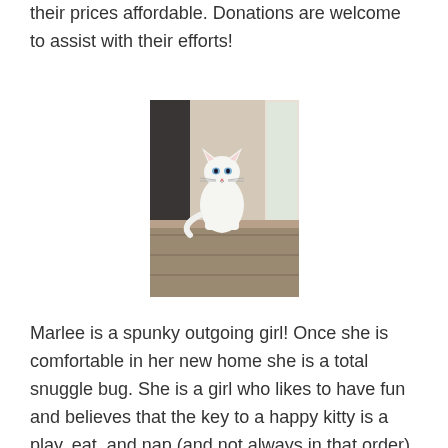their prices affordable. Donations are welcome to assist with their efforts!
[Figure (photo): A white cat sitting on top of a wooden dresser/cabinet near a window and wall corner.]
Marlee is a spunky outgoing girl! Once she is comfortable in her new home she is a total snuggle bug. She is a girl who likes to have fun and believes that the key to a happy kitty is a play, eat, and nap (and not always in that order). Marlee is a vocal girl